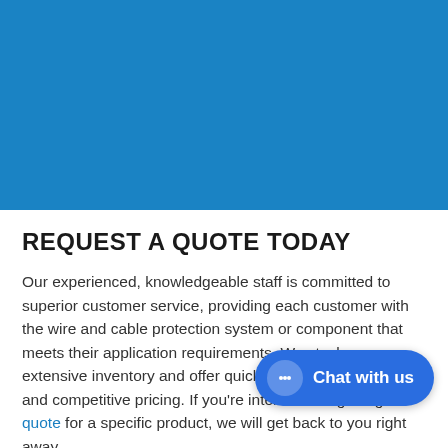[Figure (other): Blue banner/hero image area taking up the top portion of the page]
REQUEST A QUOTE TODAY
Our experienced, knowledgeable staff is committed to superior customer service, providing each customer with the wire and cable protection system or component that meets their application requirements. We stock an extensive inventory and offer quick response, fast delivery, and competitive pricing. If you're interested in getting a quote for a specific product, we will get back to you right away.